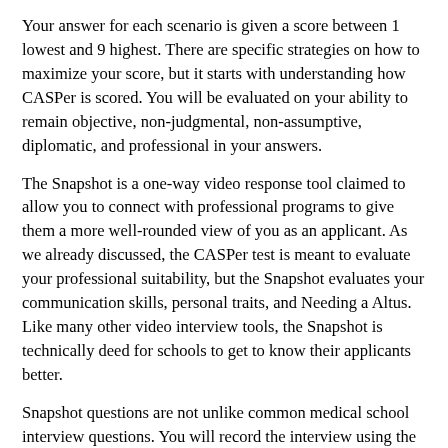Your answer for each scenario is given a score between 1 lowest and 9 highest. There are specific strategies on how to maximize your score, but it starts with understanding how CASPer is scored. You will be evaluated on your ability to remain objective, non-judgmental, non-assumptive, diplomatic, and professional in your answers.
The Snapshot is a one-way video response tool claimed to allow you to connect with professional programs to give them a more well-rounded view of you as an applicant. As we already discussed, the CASPer test is meant to evaluate your professional suitability, but the Snapshot evaluates your communication skills, personal traits, and Needing a Altus. Like many other video interview tools, the Snapshot is technically deed for schools to get to know their applicants better.
Snapshot questions are not unlike common medical school interview questions. You will record the interview using the same you created for the CASPer test. The Snapshot consists of three questions in total and you will have 30 seconds to brainstorm your answer without being recorded and two minutes to respond to each question while you are being recorded.
The entire interview should not take you more than 10 minutes. Snapshot pauses recording while you are reflecting on the question for 30 seconds. Check out the types of questions...